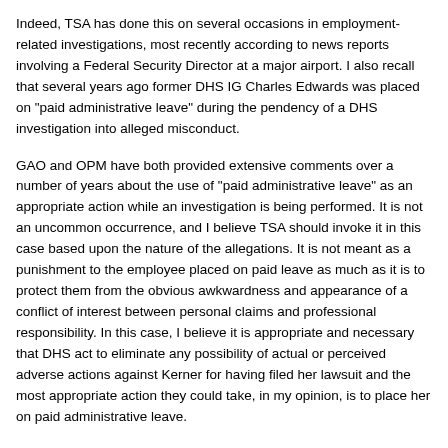Indeed, TSA has done this on several occasions in employment-related investigations, most recently according to news reports involving a Federal Security Director at a major airport. I also recall that several years ago former DHS IG Charles Edwards was placed on "paid administrative leave" during the pendency of a DHS investigation into alleged misconduct.
GAO and OPM have both provided extensive comments over a number of years about the use of "paid administrative leave" as an appropriate action while an investigation is being performed. It is not an uncommon occurrence, and I believe TSA should invoke it in this case based upon the nature of the allegations. It is not meant as a punishment to the employee placed on paid leave as much as it is to protect them from the obvious awkwardness and appearance of a conflict of interest between personal claims and professional responsibility. In this case, I believe it is appropriate and necessary that DHS act to eliminate any possibility of actual or perceived adverse actions against Kerner for having filed her lawsuit and the most appropriate action they could take, in my opinion, is to place her on paid administrative leave.